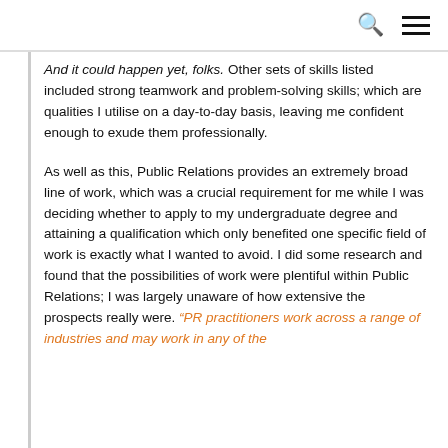Search and menu icons
And it could happen yet, folks. Other sets of skills listed included strong teamwork and problem-solving skills; which are qualities I utilise on a day-to-day basis, leaving me confident enough to exude them professionally.

As well as this, Public Relations provides an extremely broad line of work, which was a crucial requirement for me while I was deciding whether to apply to my undergraduate degree and attaining a qualification which only benefited one specific field of work is exactly what I wanted to avoid. I did some research and found that the possibilities of work were plentiful within Public Relations; I was largely unaware of how extensive the prospects really were. “PR practitioners work across a range of industries and may work in any of the